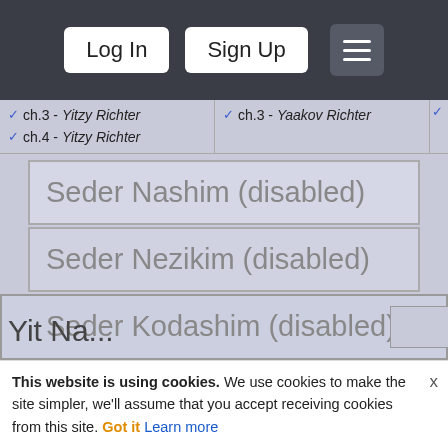Log In | Sign Up
ch.3 - Yitzy Richter
ch.4 - Yitzy Richter
ch.3 - Yaakov Richter
Seder Nashim (disabled)
Seder Nezikim (disabled)
Seder Kodashim (disabled)
Seder Taharos (disabled)
Sign Up
This website is using cookies. We use cookies to make the site simpler, we'll assume that you accept receiving cookies from this site. Got it Learn more